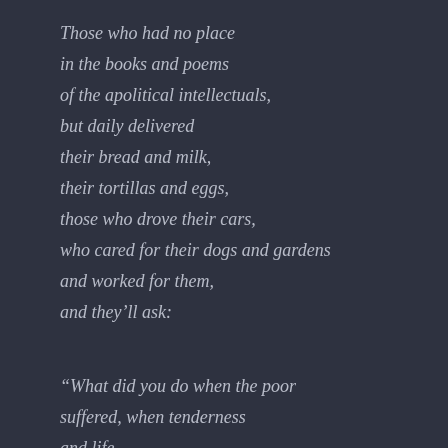Those who had no place
in the books and poems
of the apolitical intellectuals,
but daily delivered
their bread and milk,
their tortillas and eggs,
those who drove their cars,
who cared for their dogs and gardens
and worked for them,
and they'll ask:

“What did you do when the poor
suffered, when tenderness
and life
burned out of them?”